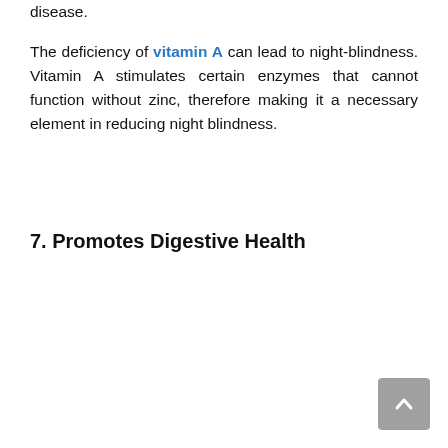disease.
The deficiency of vitamin A can lead to night-blindness. Vitamin A stimulates certain enzymes that cannot function without zinc, therefore making it a necessary element in reducing night blindness.
7. Promotes Digestive Health